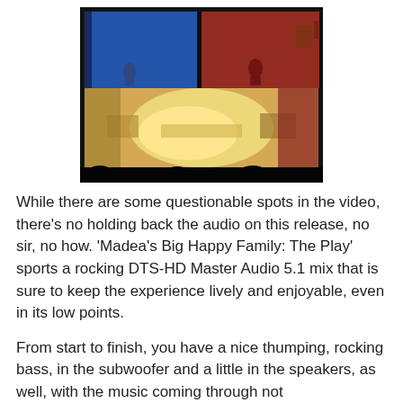[Figure (photo): A theater stage viewed from the audience (dark silhouettes of heads visible at bottom). The stage shows two levels: upper level split into a blue room on the left and a red/orange room on the right, with performers visible. The lower level is brightly lit showing a living room set.]
While there are some questionable spots in the video, there's no holding back the audio on this release, no sir, no how. 'Madea's Big Happy Family: The Play' sports a rocking DTS-HD Master Audio 5.1 mix that is sure to keep the experience lively and enjoyable, even in its low points.
From start to finish, you have a nice thumping, rocking bass, in the subwoofer and a little in the speakers, as well, with the music coming through not